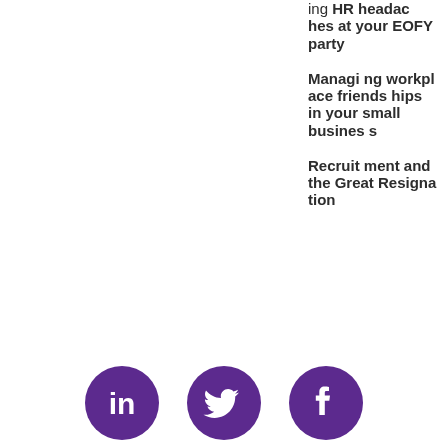ing HR headaches at your EOFY party
Managing workplace friendships in your small business
Recruitment and the Great Resignation
[Figure (logo): LinkedIn purple circle icon]
[Figure (logo): Twitter purple circle icon]
[Figure (logo): Facebook purple circle icon]